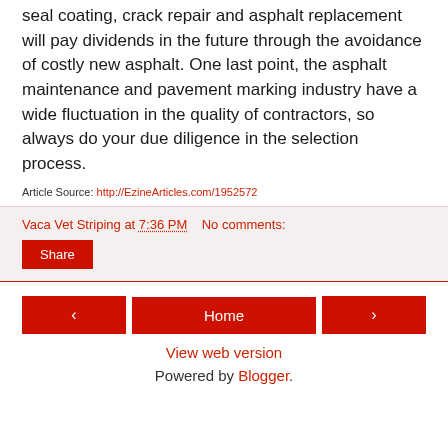seal coating, crack repair and asphalt replacement will pay dividends in the future through the avoidance of costly new asphalt. One last point, the asphalt maintenance and pavement marking industry have a wide fluctuation in the quality of contractors, so always do your due diligence in the selection process.
Article Source: http://EzineArticles.com/1952572
Vaca Vet Striping at 7:36 PM    No comments:
Share
< | Home | >
View web version
Powered by Blogger.